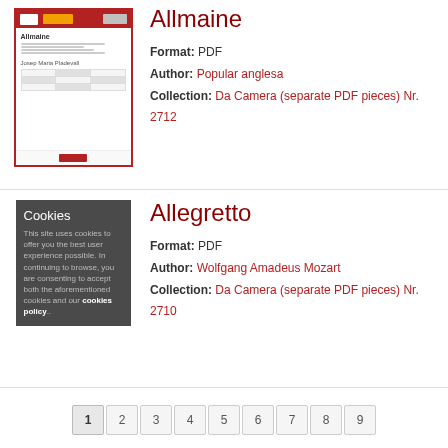[Figure (screenshot): Thumbnail of the Allmaine PDF document cover]
Allmaine
Format: PDF
Author: Popular anglesa
Collection: Da Camera (separate PDF pieces) Nr. 2712
[Figure (screenshot): Cookies notice box with dark background]
Allegretto
Format: PDF
Author: Wolfgang Amadeus Mozart
Collection: Da Camera (separate PDF pieces) Nr. 2710
1 2 3 4 5 6 7 8 9